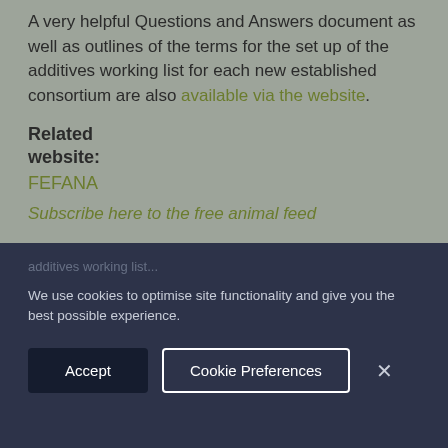A very helpful Questions and Answers document as well as outlines of the terms for the set up of the additives working list for each new established consortium are also available via the website.
Related website:
FEFANA
Subscribe here to the free animal feed
We use cookies to optimise site functionality and give you the best possible experience.